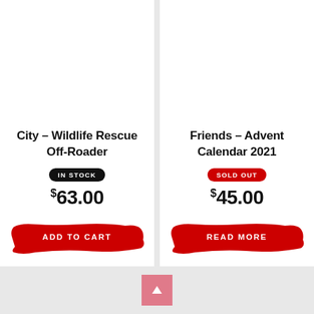[Figure (photo): Product image area for City - Wildlife Rescue Off-Roader (blank/white)]
City – Wildlife Rescue Off-Roader
IN STOCK
$63.00
ADD TO CART
[Figure (photo): Product image area for Friends - Advent Calendar 2021 (blank/white)]
Friends – Advent Calendar 2021
SOLD OUT
$45.00
READ MORE